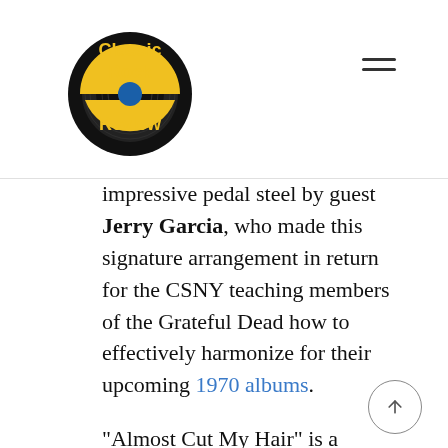Classic Rock Review
impressive pedal steel by guest Jerry Garcia, who made this signature arrangement in return for the CSNY teaching members of the Grateful Dead how to effectively harmonize for their upcoming 1970 albums.
“Almost Cut My Hair” is a bluesy, hippie anthem by David Crosby, featuring a triple guitar attack by Crosby, Stills, and most especially Young on lead guitar. This track is also the most ‘live’ sounding on the album and features no harmonies, with Crosby alone supplying the soulful lead vocals throughout. The album again changes direction with Young’s